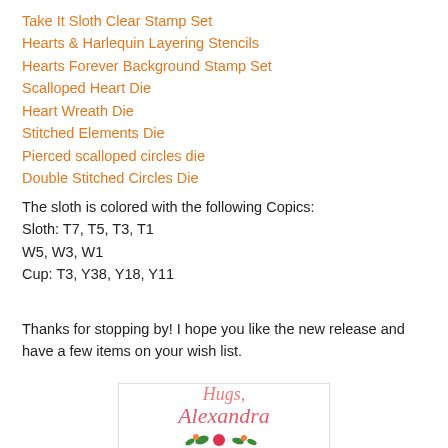Take It Sloth Clear Stamp Set
Hearts & Harlequin Layering Stencils
Hearts Forever Background Stamp Set
Scalloped Heart Die
Heart Wreath Die
Stitched Elements Die
Pierced scalloped circles die
Double Stitched Circles Die
The sloth is colored with the following Copics:
Sloth: T7, T5, T3, T1
W5, W3, W1
Cup: T3, Y38, Y18, Y11
Thanks for stopping by! I hope you like the new release and have a few items on your wish list.
[Figure (illustration): A decorative signature block with 'Hugs, Alexandra' written in pink cursive script, with floral decorations at the bottom including a red heart and green leaves.]